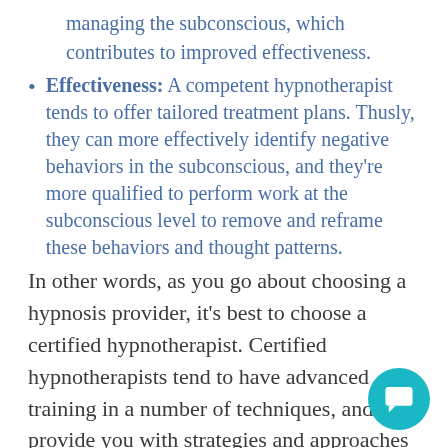managing the subconscious, which contributes to improved effectiveness.
Effectiveness: A competent hypnotherapist tends to offer tailored treatment plans. Thusly, they can more effectively identify negative behaviors in the subconscious, and they're more qualified to perform work at the subconscious level to remove and reframe these behaviors and thought patterns.
In other words, as you go about choosing a hypnosis provider, it's best to choose a certified hypnotherapist. Certified hypnotherapists tend to have advanced training in a number of techniques, and can provide you with strategies and approaches that are designed with you in mind. This will ensure you're receiving the possible care.